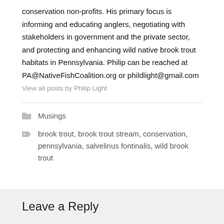conservation non-profits. His primary focus is informing and educating anglers, negotiating with stakeholders in government and the private sector, and protecting and enhancing wild native brook trout habitats in Pennsylvania. Philip can be reached at PA@NativeFishCoalition.org or phildlight@gmail.com
View all posts by Philip Light
Musings
brook trout, brook trout stream, conservation, pennsylvania, salvelinus fontinalis, wild brook trout
Leave a Reply